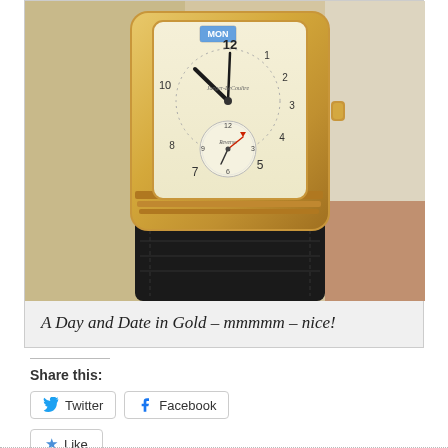[Figure (photo): Close-up photo of a Jaeger-LeCoultre Reverso Day and Date wristwatch in gold case with black leather strap, showing the dial with day indicator (MON), hour/minute hands, and a subsidiary seconds dial with a red hand pointer. The watch is displayed against a light cushioned background.]
A Day and Date in Gold – mmmmm – nice!
Share this:
Twitter
Facebook
Like
Be the first to like this.